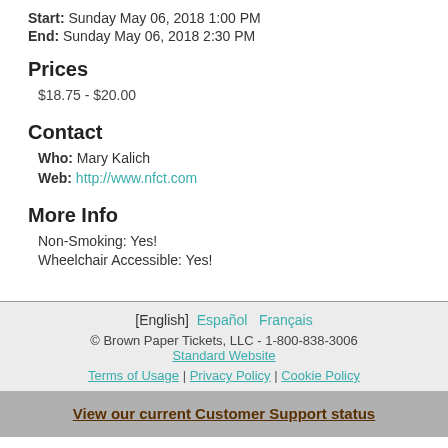Start: Sunday May 06, 2018 1:00 PM
End: Sunday May 06, 2018 2:30 PM
Prices
$18.75 - $20.00
Contact
Who: Mary Kalich
Web: http://www.nfct.com
More Info
Non-Smoking: Yes!
Wheelchair Accessible: Yes!
[English] Español Français © Brown Paper Tickets, LLC - 1-800-838-3006 Standard Website Terms of Usage | Privacy Policy | Cookie Policy
View our current Customer Support status